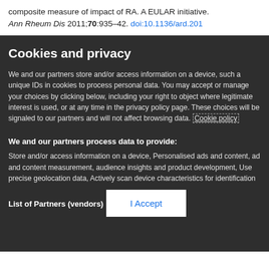composite measure of impact of RA. A EULAR initiative. Ann Rheum Dis 2011;70:935–42. doi:10.1136/ard.201
Cookies and privacy
We and our partners store and/or access information on a device, such as unique IDs in cookies to process personal data. You may accept or manage your choices by clicking below, including your right to object where legitimate interest is used, or at any time in the privacy policy page. These choices will be signaled to our partners and will not affect browsing data. Cookie policy
We and our partners process data to provide:
Store and/or access information on a device, Personalised ads and content, ad and content measurement, audience insights and product development, Use precise geolocation data, Actively scan device characteristics for identification
List of Partners (vendors)
I Accept